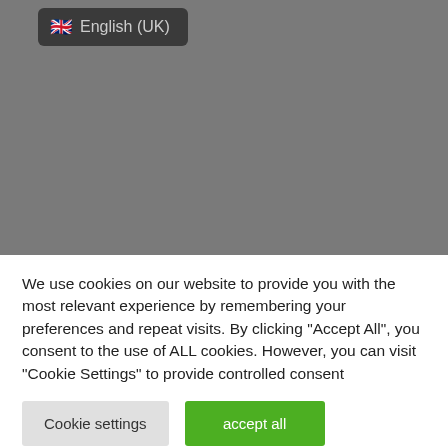[Figure (screenshot): Screenshot of a website UI with a dark grey background. A language selector dropdown showing a UK flag emoji and the text 'English (UK)' on a dark rounded rectangle is visible in the upper left area.]
We use cookies on our website to provide you with the most relevant experience by remembering your preferences and repeat visits. By clicking "Accept All", you consent to the use of ALL cookies. However, you can visit "Cookie Settings" to provide controlled consent
Cookie settings
accept all